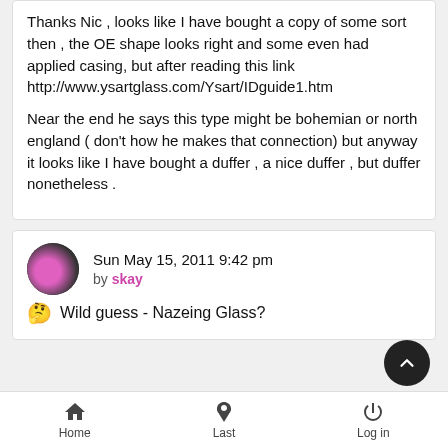Thanks Nic , looks like I have bought a copy of some sort then , the OE shape looks right and some even had applied casing, but after reading this link http://www.ysartglass.com/Ysart/IDguide1.htm

Near the end he says this type might be bohemian or north england ( don't how he makes that connection) but anyway it looks like I have bought a duffer , a nice duffer , but duffer nonetheless .
Sun May 15, 2011 9:42 pm by skay
🤔 Wild guess - Nazeing Glass?
Home  Last  Log in